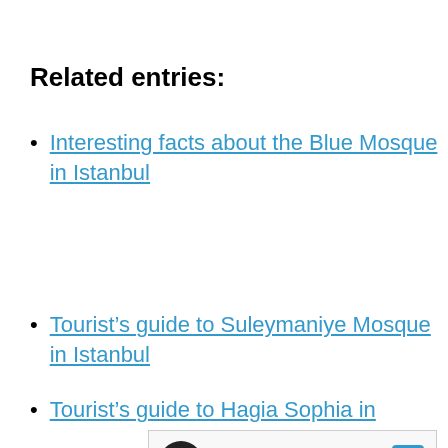Related entries:
Interesting facts about the Blue Mosque in Istanbul
Tourist’s guide to Suleymaniye Mosque in Istanbul
Tourist’s guide to Hagia Sophia in
[Figure (other): Advertisement box: Visit Premium Outlets® Leesburg Premium Outlets, with a circular dark logo, navigation arrow icon, and ad controls (play/close buttons)]